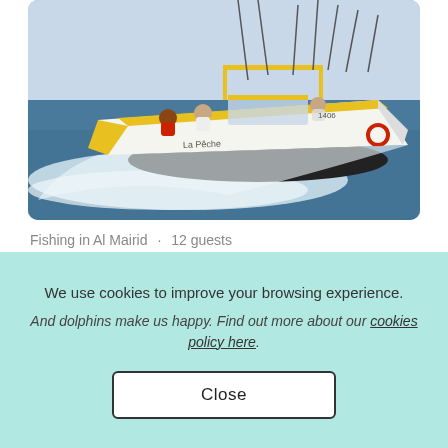[Figure (photo): A yellow and white speedboat on the ocean with fishing rods and several people aboard, moving at high speed and creating a wake.]
Fishing in Al Mairid · 12 guests
Deep Sea and Sport fishing Trip for 6 Persons (up...
★ New 🏅 Superowner
We use cookies to improve your browsing experience. And dolphins make us happy. Find out more about our cookies policy here.
Close